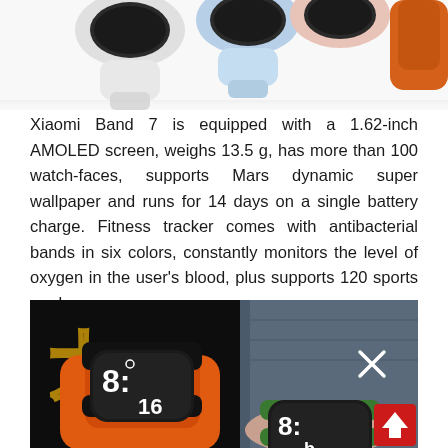[Figure (photo): Top portion of Xiaomi Band 7 fitness trackers in white, light blue, pink, and orange colorways shown against white background — cropped at top of page]
Xiaomi Band 7 is equipped with a 1.62-inch AMOLED screen, weighs 13.5 g, has more than 100 watch-faces, supports Mars dynamic super wallpaper and runs for 14 days on a single battery charge. Fitness tracker comes with antibacterial bands in six colors, constantly monitors the level of oxygen in the user's blood, plus supports 120 sports modes.
[Figure (photo): Photo of two wrists wearing Xiaomi Band 7 fitness trackers — left wrist shows orange band with watch face displaying 8:16, right wrist shows green band. Dark background with gold Chinese characters. Red scroll-to-top button in bottom right corner with white X and arrow icons.]